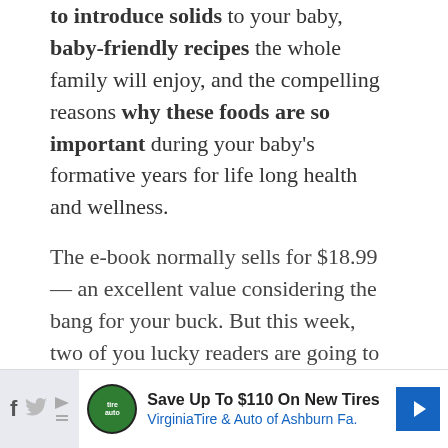to introduce solids to your baby, baby-friendly recipes the whole family will enjoy, and the compelling reasons why these foods are so important during your baby's formative years for life long health and wellness.
The e-book normally sells for $18.99 — an excellent value considering the bang for your buck. But this week, two of you lucky readers are going to get it absolutely FREE!
[Figure (other): Advertisement bar at bottom of page: Virginia Tire & Auto of Ashburn Fa. — Save Up To $110 On New Tires, with social sharing icons (Facebook, Twitter) and a navigation arrow icon.]